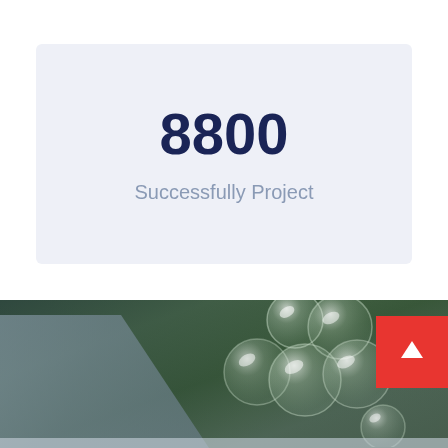8800
Successfully Project
[Figure (photo): Outdoor garden/park scene with green bushes and a pathway, overlaid with transparent glass bubble spheres arranged in a cluster. A red square button with a white upward arrow is visible on the right side.]